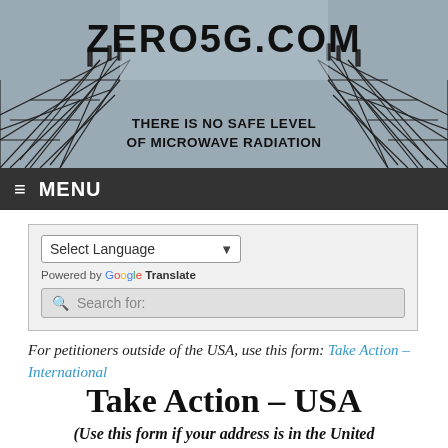[Figure (photo): Website header banner with transmission towers/antenna structures against a grey sky, with site title ZERO5G.COM and tagline THERE IS NO SAFE LEVEL OF MICROWAVE RADIATION]
ZERO5G.COM — THERE IS NO SAFE LEVEL OF MICROWAVE RADIATION
≡  MENU
[Figure (screenshot): Google Translate widget with Select Language dropdown and search box labeled Search for:]
For petitioners outside of the USA, use this form: Take Action – International
Take Action – USA
(Use this form if your address is in the United States.)